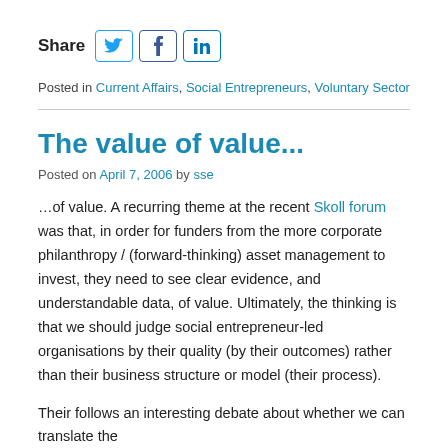[Figure (infographic): Share row with bold label 'Share' and three social media icons: Twitter (bird icon), Facebook (f icon), LinkedIn (in icon), each in a rounded rectangle border]
Posted in Current Affairs, Social Entrepreneurs, Voluntary Sector
The value of value...
Posted on April 7, 2006 by sse
…of value. A recurring theme at the recent Skoll forum was that, in order for funders from the more corporate philanthropy / (forward-thinking) asset management to invest, they need to see clear evidence, and understandable data, of value. Ultimately, the thinking is that we should judge social entrepreneur-led organisations by their quality (by their outcomes) rather than their business structure or model (their process).
Their follows an interesting debate about whether we can translate the